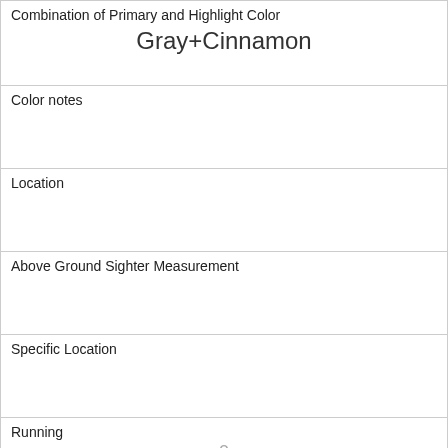| Combination of Primary and Highlight Color
Gray+Cinnamon |
| Color notes |
| Location |
| Above Ground Sighter Measurement |
| Specific Location |
| Running
0 |
| Chasing
0 |
| Climbing
0 |
| Eating
0 |
| Foraging
1 |
| Other Activities |